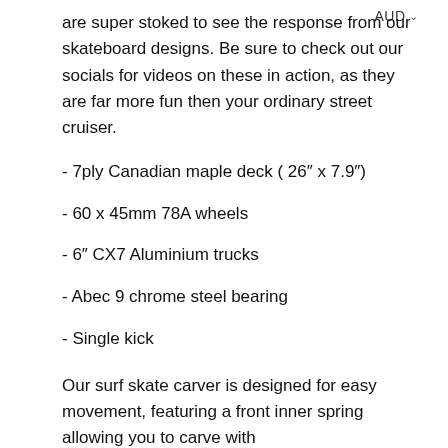are super stoked to see the response from our skateboard designs. Be sure to check out our socials for videos on these in action, as they are far more fun then your ordinary street cruiser.
- 7ply Canadian maple deck ( 26" x 7.9")
- 60 x 45mm 78A wheels
- 6" CX7 Aluminium trucks
- Abec 9 chrome steel bearing
- Single kick
Our surf skate carver is designed for easy movement, featuring a front inner spring allowing you to carve with